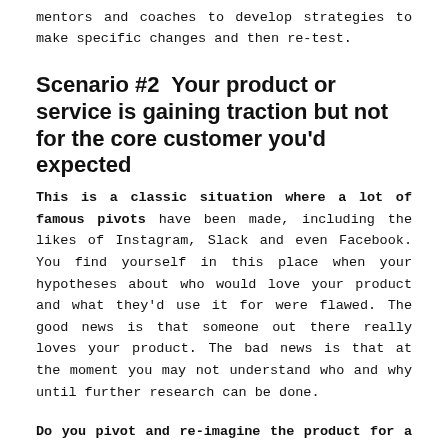mentors and coaches to develop strategies to make specific changes and then re-test.
Scenario #2  Your product or service is gaining traction but not for the core customer you'd expected
This is a classic situation where a lot of famous pivots have been made, including the likes of Instagram, Slack and even Facebook. You find yourself in this place when your hypotheses about who would love your product and what they'd use it for were flawed. The good news is that someone out there really loves your product. The bad news is that at the moment you may not understand who and why until further research can be done.
Do you pivot and re-imagine the product for a different customer or different use? In other words, you were digging for gold and found silver. Do you keep